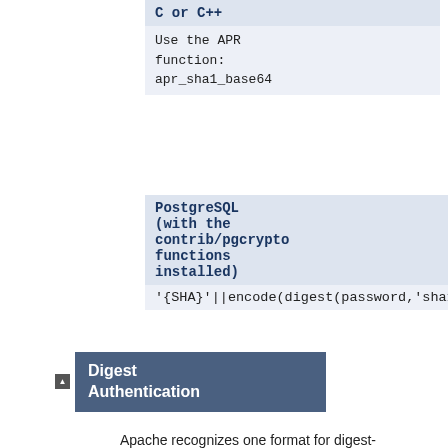| C or C++ |  |
| --- | --- |
| Use the APR function:
apr_sha1_base64 |  |
| PostgreSQL (with the contrib/pgcrypto functions installed) |  |
| --- | --- |
| '{SHA}'||encode(digest(password,'sha1'),'base64 |  |
Digest Authentication
Apache recognizes one format for digest-authentication passwords - the MD5 hash of the string user:realm:password as a 32-character string of hexadecimal digits. realm is the